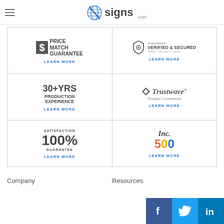signs.com
[Figure (logo): signs.com logo with blue globe-like icon and 'signs.com' text]
[Figure (infographic): Price Match Guarantee badge with dollar sign box]
LEARN MORE
[Figure (infographic): GoDaddy Verified & Secured badge with shield icon]
LEARN MORE
[Figure (infographic): 30+ YRS Production Experience badge]
LEARN MORE
[Figure (infographic): Trustwave Trusted Commerce badge]
LEARN MORE
[Figure (infographic): Satisfaction 100% Guarantee badge]
LEARN MORE
[Figure (infographic): Inc. 500 badge with colorful 500 text]
LEARN MORE
Company
Resources